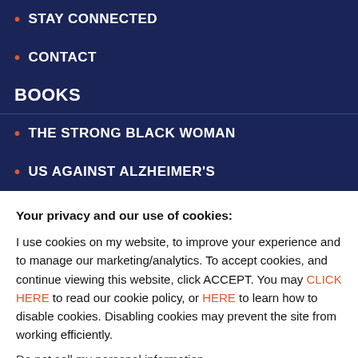STAY CONNECTED
CONTACT
BOOKS
THE STRONG BLACK WOMAN
US AGAINST ALZHEIMER'S
Your privacy and our use of cookies: I use cookies on my website, to improve your experience and to manage our marketing/analytics. To accept cookies, and continue viewing this website, click ACCEPT. You may CLICK HERE to read our cookie policy, or HERE to learn how to disable cookies. Disabling cookies may prevent the site from working efficiently. Do not sell my personal information.
Cookie settings  ACCEPT